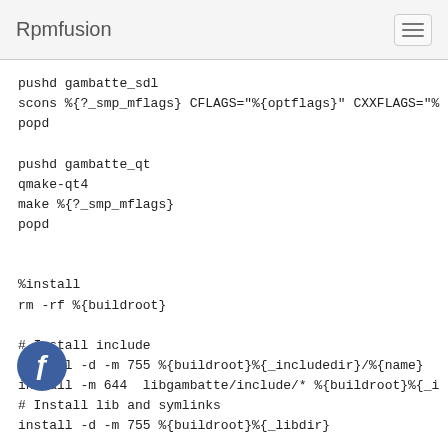Rpmfusion
pushd gambatte_sdl
scons %{?_smp_mflags} CFLAGS="%{optflags}" CXXFLAGS="%
popd

pushd gambatte_qt
qmake-qt4
make %{?_smp_mflags}
popd


%install
rm -rf %{buildroot}

# Install include
install -d -m 755 %{buildroot}%{_includedir}/%{name}
install -m 644  libgambatte/include/* %{buildroot}%{_i
# Install lib and symlinks
install -d -m 755 %{buildroot}%{_libdir}